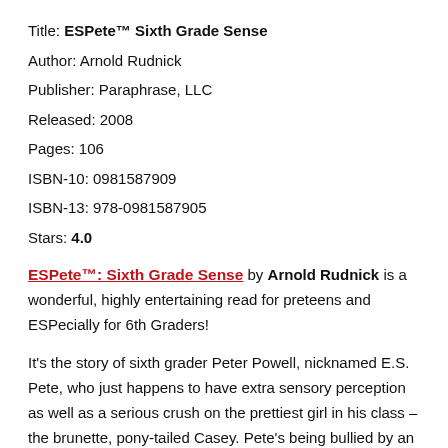Title: ESPete™ Sixth Grade Sense
Author: Arnold Rudnick
Publisher: Paraphrase, LLC
Released: 2008
Pages: 106
ISBN-10: 0981587909
ISBN-13: 978-0981587905
Stars: 4.0
ESPete™: Sixth Grade Sense by Arnold Rudnick is a wonderful, highly entertaining read for preteens and ESPecially for 6th Graders!
It's the story of sixth grader Peter Powell, nicknamed E.S. Pete, who just happens to have extra sensory perception as well as a serious crush on the prettiest girl in his class – the brunette, pony-tailed Casey. Pete's being bullied by an insecure boy named Rodney, is fending off a school